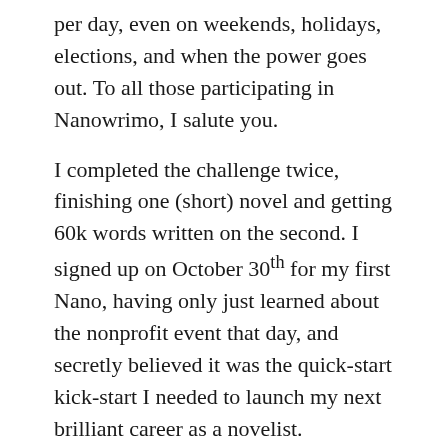per day, even on weekends, holidays, elections, and when the power goes out. To all those participating in Nanowrimo, I salute you.
I completed the challenge twice, finishing one (short) novel and getting 60k words written on the second. I signed up on October 30th for my first Nano, having only just learned about the nonprofit event that day, and secretly believed it was the quick-start kick-start I needed to launch my next brilliant career as a novelist.
Here is the summary of that first attempt:
“When vagabond musician, Lucas, is